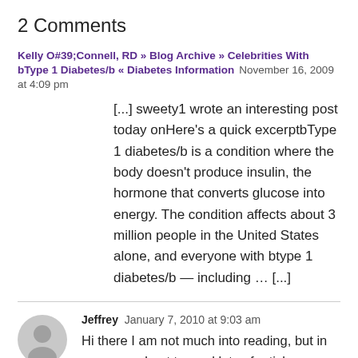2 Comments
Kelly O#39;Connell, RD » Blog Archive » Celebrities With bType 1 Diabetes/b « Diabetes Information  November 16, 2009 at 4:09 pm
[...] sweety1 wrote an interesting post today onHere's a quick excerptbType 1 diabetes/b is a condition where the body doesn't produce insulin, the hormone that converts glucose into energy. The condition affects about 3 million people in the United States alone, and everyone with btype 1 diabetes/b — including … [...]
Jeffrey  January 7, 2010 at 9:03 am
Hi there I am not much into reading, but in some way I got to read lots of articles